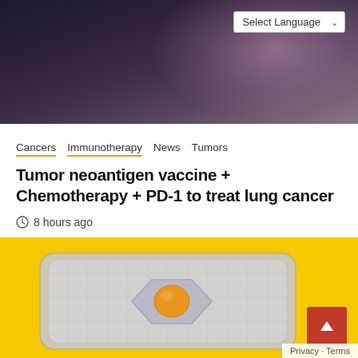[Figure (photo): Dark background photo showing decorative items with patterned surface, partially cropped at top. Select Language dropdown visible in top right corner.]
Cancers  Immunotherapy  News  Tumors
Tumor neoantigen vaccine + Chemotherapy + PD-1 to treat lung cancer
8 hours ago
[Figure (photo): Yellow background with a silver blister pill pack containing one orange/yellow pill in the center cavity. A red scroll-to-top button visible in bottom right, and Privacy/Terms bar at bottom right.]